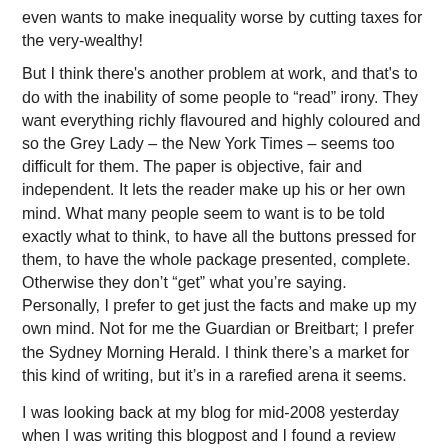even wants to make inequality worse by cutting taxes for the very-wealthy!
But I think there's another problem at work, and that's to do with the inability of some people to “read” irony. They want everything richly flavoured and highly coloured and so the Grey Lady – the New York Times – seems too difficult for them. The paper is objective, fair and independent. It lets the reader make up his or her own mind. What many people seem to want is to be told exactly what to think, to have all the buttons pressed for them, to have the whole package presented, complete. Otherwise they don’t “get” what you’re saying. Personally, I prefer to get just the facts and make up my own mind. Not for me the Guardian or Breitbart; I prefer the Sydney Morning Herald. I think there’s a market for this kind of writing, but it’s in a rarefied arena it seems.
I was looking back at my blog for mid-2008 yesterday when I was writing this blogpost and I found a review from August about Chloe Hooper’s creative nonfiction book The Tall Man, which was published in that year. I had written:
Just as I was reading this book I finished...